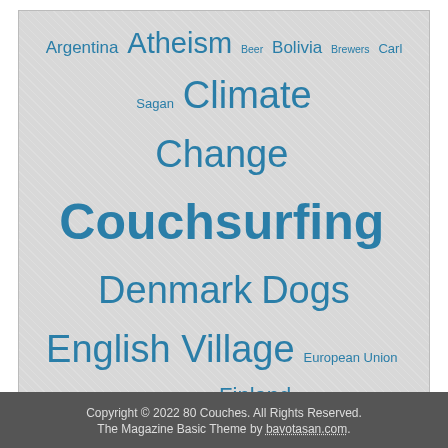Argentina Atheism Beer Bolivia Brewers Carl Sagan Climate Change Couchsurfing Denmark Dogs English Village European Union Evolution Finland Football Germany Global Citizen Globalization Global Warming Hiking Human Rights Iceland India Japan Knoxville Korea Liverpool Milwaukee Moving On Munich North Korea Paju Peru Politics Religion Science Seoul Soccer Strange Places Technology Tennessee Travel traveling U.S.A. Working to live
Copyright © 2022 80 Couches. All Rights Reserved. The Magazine Basic Theme by bavotasan.com.